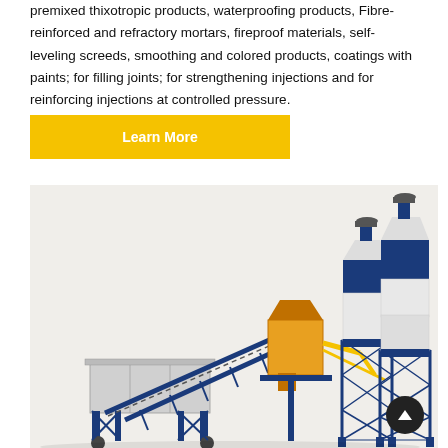premixed thixotropic products, waterproofing products, Fibre-reinforced and refractory mortars, fireproof materials, self-leveling screeds, smoothing and colored products, coatings with paints; for filling joints; for strengthening injections and for reinforcing injections at controlled pressure.
[Figure (illustration): Yellow 'Learn More' button with white bold text on yellow background]
[Figure (photo): Industrial concrete mixing plant with blue steel framework, conveyor belt, yellow chutes, and two large white/blue cylindrical silos with blue lattice support towers on a light background.]